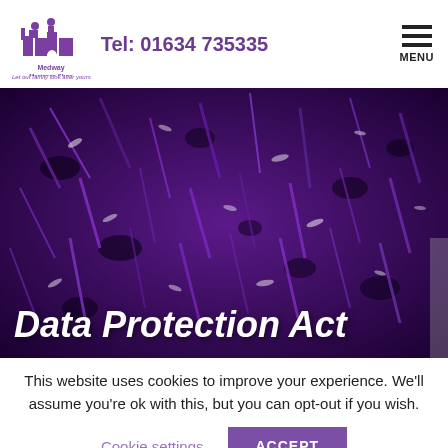Medway Mortgage Shop — Tel: 01634 735335 — MENU
[Figure (photo): Close-up macro photograph of purple/violet fibrous or grass-like texture with dark background, used as hero banner image]
Data Protection Act
This website uses cookies to improve your experience. We'll assume you're ok with this, but you can opt-out if you wish.
Cookie settings   ACCEPT